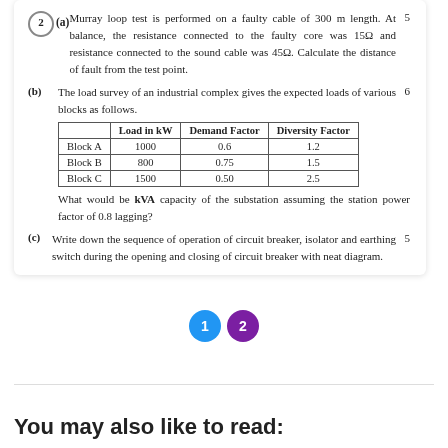2(a) Murray loop test is performed on a faulty cable of 300 m length. At balance, the resistance connected to the faulty core was 15Ω and resistance connected to the sound cable was 45Ω. Calculate the distance of fault from the test point. 5
(b) The load survey of an industrial complex gives the expected loads of various blocks as follows. 6
|  | Load in kW | Demand Factor | Diversity Factor |
| --- | --- | --- | --- |
| Block A | 1000 | 0.6 | 1.2 |
| Block B | 800 | 0.75 | 1.5 |
| Block C | 1500 | 0.50 | 2.5 |
What would be kVA capacity of the substation assuming the station power factor of 0.8 lagging?
(c) Write down the sequence of operation of circuit breaker, isolator and earthing switch during the opening and closing of circuit breaker with neat diagram. 5
You may also like to read: